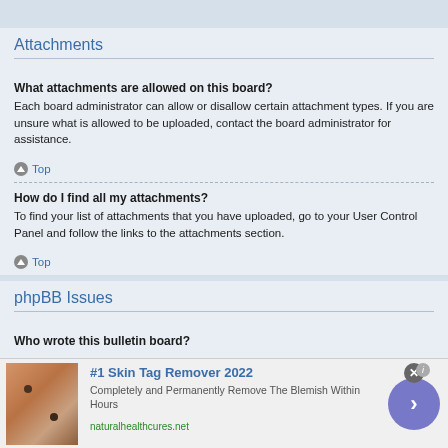Attachments
What attachments are allowed on this board?
Each board administrator can allow or disallow certain attachment types. If you are unsure what is allowed to be uploaded, contact the board administrator for assistance.
Top
How do I find all my attachments?
To find your list of attachments that you have uploaded, go to your User Control Panel and follow the links to the attachments section.
Top
phpBB Issues
Who wrote this bulletin board?
[Figure (infographic): Advertisement banner for #1 Skin Tag Remover 2022 from naturalhealthcures.net with a skin photo, description text, and a purple arrow button]